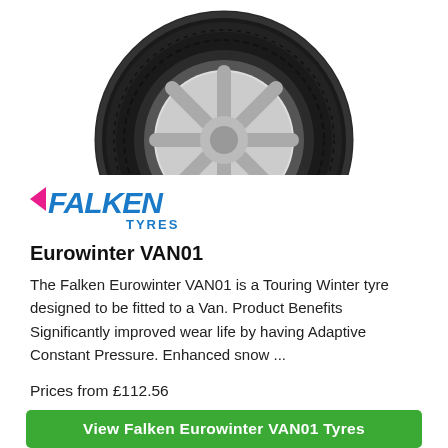[Figure (photo): Falken Eurowinter VAN01 tyre product photo showing a black winter tyre with silver alloy wheel against white background]
[Figure (logo): Falken Tyres logo: FALKEN in blue italic bold letters with a magenta/pink arrow, and TYRES in blue below]
Eurowinter VAN01
The Falken Eurowinter VAN01 is a Touring Winter tyre designed to be fitted to a Van. Product Benefits Significantly improved wear life by having Adaptive Constant Pressure. Enhanced snow ...
Prices from £112.56
View Falken Eurowinter VAN01 Tyres